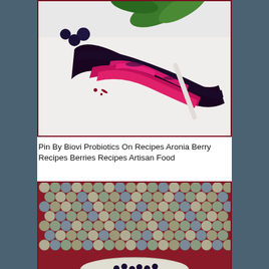[Figure (photo): Close-up photo of a dark purple/black berry jam or compote spread on a white surface with a spoon, with blueberries and green leaves visible in the background.]
Pin By Biovi Probiotics On Recipes Aronia Berry Recipes Berries Recipes Artisan Food
[Figure (photo): Close-up photo of a crochet or fabric textile made from small flower-shaped fabric yo-yos in muted tones of cream, green, and blue, with a bowl containing dark berries partially visible at the bottom.]